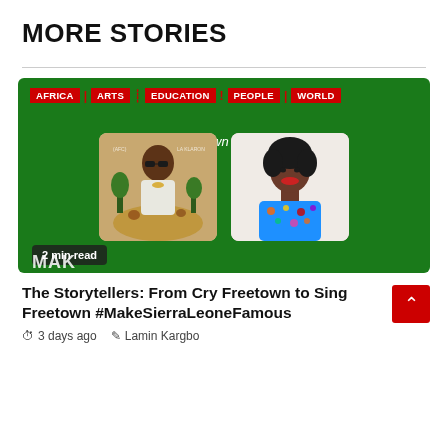MORE STORIES
[Figure (photo): Story card on green background with category tags (AFRICA, ARTS, EDUCATION, PEOPLE, WORLD), subtitle 'From Cry Freetown to Sing Freetown', two portrait photos (movie poster and woman in colorful attire), and '2 min read' badge.]
The Storytellers: From Cry Freetown to Sing Freetown #MakeSierraLeoneFamous
3 days ago   Lamin Kargbo